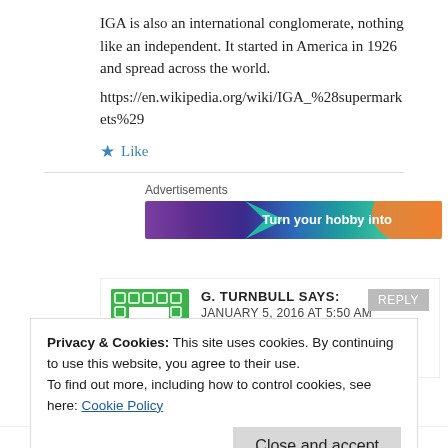IGA is also an international conglomerate, nothing like an independent. It started in America in 1926 and spread across the world.
https://en.wikipedia.org/wiki/IGA_%28supermarkets%29
★ Like
Advertisements
[Figure (screenshot): Advertisement banner with purple-to-orange gradient and text 'Turn your hobby into']
G. TURNBULL SAYS:
JANUARY 5, 2016 AT 5:50 AM
Privacy & Cookies: This site uses cookies. By continuing to use this website, you agree to their use.
To find out more, including how to control cookies, see here: Cookie Policy
Close and accept
small foodworks shop where I do all my shopping and I